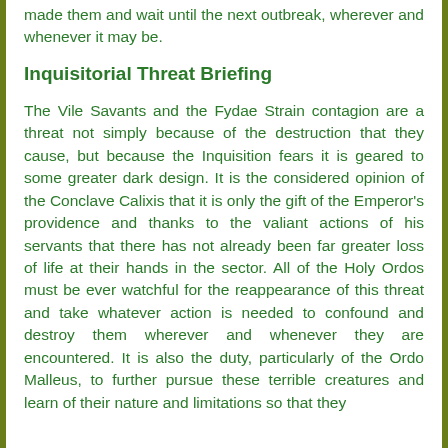made them and wait until the next outbreak, wherever and whenever it may be.
Inquisitorial Threat Briefing
The Vile Savants and the Fydae Strain contagion are a threat not simply because of the destruction that they cause, but because the Inquisition fears it is geared to some greater dark design. It is the considered opinion of the Conclave Calixis that it is only the gift of the Emperor's providence and thanks to the valiant actions of his servants that there has not already been far greater loss of life at their hands in the sector. All of the Holy Ordos must be ever watchful for the reappearance of this threat and take whatever action is needed to confound and destroy them wherever and whenever they are encountered. It is also the duty, particularly of the Ordo Malleus, to further pursue these terrible creatures and learn of their nature and limitations so that they